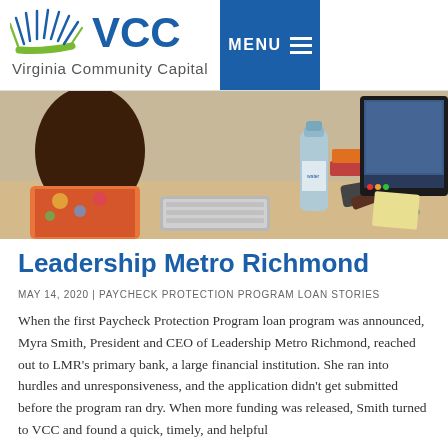[Figure (logo): Virginia Community Capital (VCC) logo with sunburst graphic and wordmark, plus MENU button in dark blue]
[Figure (photo): Woman sitting at a computer desk with a water bottle, keyboard, and iMac monitor in the background]
Leadership Metro Richmond
MAY 14, 2020 | PAYCHECK PROTECTION PROGRAM LOAN STORIES
When the first Paycheck Protection Program loan program was announced, Myra Smith, President and CEO of Leadership Metro Richmond, reached out to LMR’s primary bank, a large financial institution. She ran into hurdles and unresponsiveness, and the application didn’t get submitted before the program ran dry. When more funding was released, Smith turned to VCC and found a quick, timely, and helpful